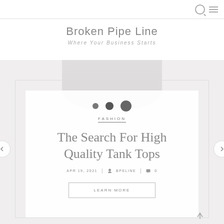Broken Pipe Line
Where Your Business Starts
[Figure (screenshot): Blog post card with fashion category, article title 'The Search For High Quality Tank Tops', date APR 19, 2021, author BPELINE, 0 comments, and a LEARN MORE button. Background shows partial woman figure. Navigation arrows on sides.]
FASHION
The Search For High Quality Tank Tops
APR 19, 2021 | BPELINE | 0
LEARN MORE